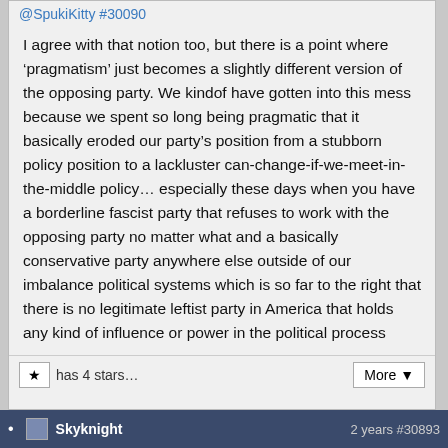@SpukiKitty #30090
I agree with that notion too, but there is a point where ‘pragmatism’ just becomes a slightly different version of the opposing party. We kindof have gotten into this mess because we spent so long being pragmatic that it basically eroded our party’s position from a stubborn policy position to a lackluster can-change-if-we-meet-in-the-middle policy… especially these days when you have a borderline fascist party that refuses to work with the opposing party no matter what and a basically conservative party anywhere else outside of our imbalance political systems which is so far to the right that there is no legitimate leftist party in America that holds any kind of influence or power in the political process
★ has 4 stars... More ▾
Skyknight  2 years #30893